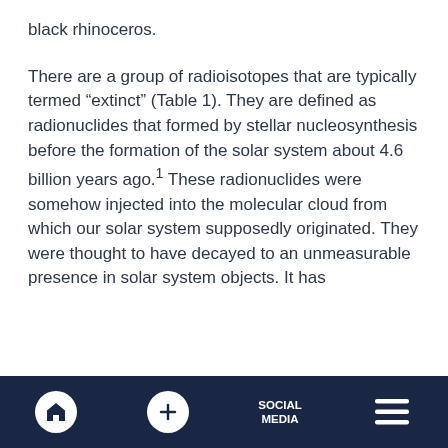black rhinoceros.
There are a group of radioisotopes that are typically termed “extinct” (Table 1). They are defined as radionuclides that formed by stellar nucleosynthesis before the formation of the solar system about 4.6 billion years ago.¹ These radionuclides were somehow injected into the molecular cloud from which our solar system supposedly originated. They were thought to have decayed to an unmeasurable presence in solar system objects. It has
Home | Add | Social Media | Menu